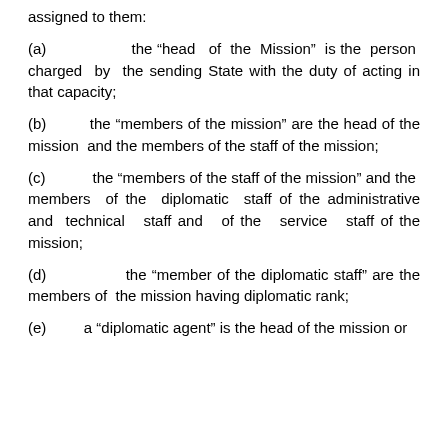assigned to them:
(a)   the “head of the Mission” is the person charged by the sending State with the duty of acting in that capacity;
(b)   the “members of the mission” are the head of the mission and the members of the staff of the mission;
(c)   the “members of the staff of the mission” and the members of the diplomatic staff of the administrative and technical staff and of the service staff of the mission;
(d)   the “member of the diplomatic staff” are the members of the mission having diplomatic rank;
(e)   a “diplomatic agent” is the head of the mission or